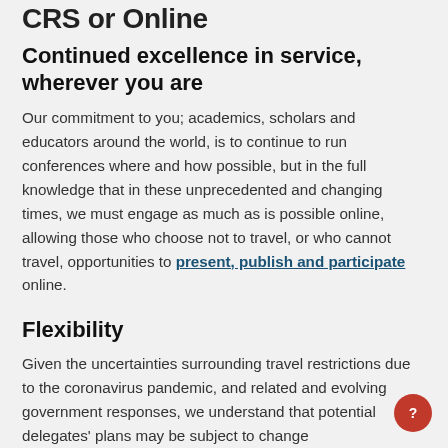CRS or Online
Continued excellence in service, wherever you are
Our commitment to you; academics, scholars and educators around the world, is to continue to run conferences where and how possible, but in the full knowledge that in these unprecedented and changing times, we must engage as much as is possible online, allowing those who choose not to travel, or who cannot travel, opportunities to present, publish and participate online.
Flexibility
Given the uncertainties surrounding travel restrictions due to the coronavirus pandemic, and related and evolving government responses, we understand that potential delegates' plans may be subject to change